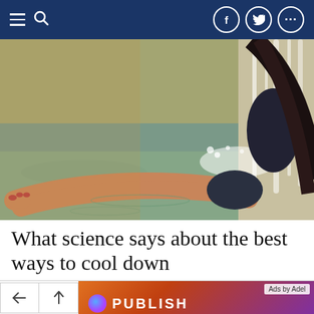Navigation bar with hamburger menu, search icon, and social icons (Facebook, Twitter, More)
[Figure (photo): Woman in a bikini top and dark shorts splashing through shallow water, her legs extended forward, water droplets around her. Warm sunlit waterfall or water feature in the background.]
What science says about the best ways to cool down
Ads by Adel
PUBLISH